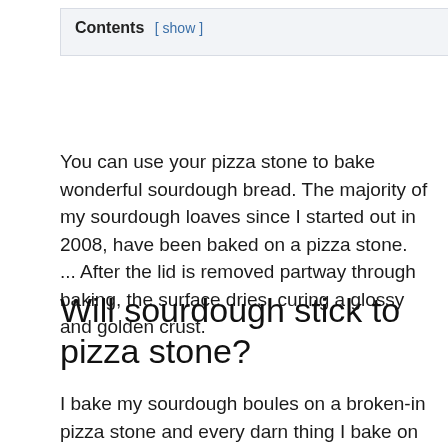Contents [ show ]
You can use your pizza stone to bake wonderful sourdough bread. The majority of my sourdough loaves since I started out in 2008, have been baked on a pizza stone. ... After the lid is removed partway through baking, the surface dries, curing a glossy and golden crust.
Will sourdough stick to pizza stone?
I bake my sourdough boules on a broken-in pizza stone and every darn thing I bake on it sticks like it's cemented on. I literally have to